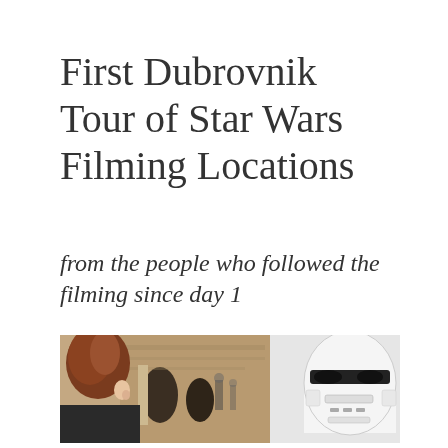First Dubrovnik Tour of Star Wars Filming Locations
from the people who followed the filming since day 1
[Figure (photo): A composite image showing a woman with red hair viewed from behind looking at a stone archway street scene in Dubrovnik on the left, and a Star Wars Stormtrooper helmet illustration/icon on the right against a light grey background.]